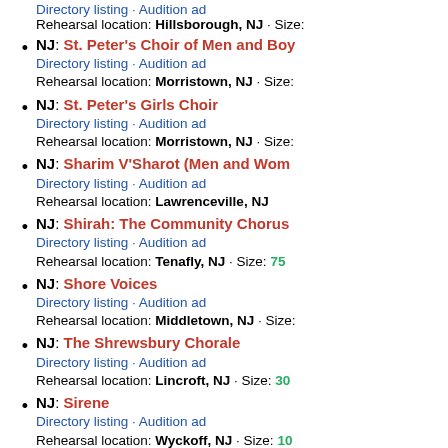Directory listing · Audition ad
Rehearsal location: Hillsborough, NJ · Size:
NJ: St. Peter's Choir of Men and Boys
Directory listing · Audition ad
Rehearsal location: Morristown, NJ · Size:
NJ: St. Peter's Girls Choir
Directory listing · Audition ad
Rehearsal location: Morristown, NJ · Size:
NJ: Sharim V'Sharot (Men and Women)
Directory listing · Audition ad
Rehearsal location: Lawrenceville, NJ
NJ: Shirah: The Community Chorus
Directory listing · Audition ad
Rehearsal location: Tenafly, NJ · Size: 75
NJ: Shore Voices
Directory listing · Audition ad
Rehearsal location: Middletown, NJ · Size:
NJ: The Shrewsbury Chorale
Directory listing · Audition ad
Rehearsal location: Lincroft, NJ · Size: 30
NJ: Sirene
Directory listing · Audition ad
Rehearsal location: Wyckoff, NJ · Size: 10
NJ: Sonaré
Directory listing · Audition ad
Rehearsal location: Summit, NJ · Size: 15-2
NJ: Summit Chorale
Directory listing · Audition ad
Rehearsal location: Summit, NJ · Size: 50